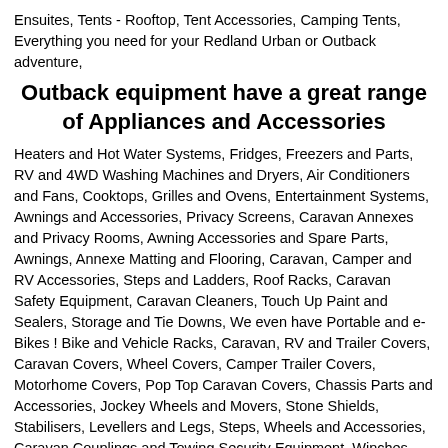Ensuites, Tents - Rooftop, Tent Accessories, Camping Tents, Everything you need for your Redland Urban or Outback adventure,
Outback equipment have a great range of Appliances and Accessories
Heaters and Hot Water Systems, Fridges, Freezers and Parts, RV and 4WD Washing Machines and Dryers, Air Conditioners and Fans, Cooktops, Grilles and Ovens, Entertainment Systems, Awnings and Accessories, Privacy Screens, Caravan Annexes and Privacy Rooms, Awning Accessories and Spare Parts, Awnings, Annexe Matting and Flooring, Caravan, Camper and RV Accessories, Steps and Ladders, Roof Racks, Caravan Safety Equipment, Caravan Cleaners, Touch Up Paint and Sealers, Storage and Tie Downs, We even have Portable and e-Bikes ! Bike and Vehicle Racks, Caravan, RV and Trailer Covers, Caravan Covers, Wheel Covers, Camper Trailer Covers, Motorhome Covers, Pop Top Caravan Covers, Chassis Parts and Accessories, Jockey Wheels and Movers, Stone Shields, Stabilisers, Levellers and Legs, Steps, Wheels and Accessories, Caravan Couplings and Towing Security Equipment, Winches and Parts, Electrical, Lighting - Wireless Switches, Trailer Lights and Reflectors, an Interior Lighting Range, an Exterior Lighting Range, Pressure Washers, Generators and Accessories, Try us for your Light Bulbs! Adaptors, Leads, and Sockets, Furniture and Hardware, Tables and